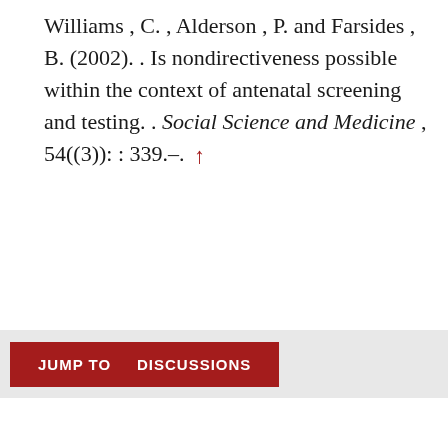Williams , C. , Alderson , P. and Farsides , B. (2002). . Is nondirectiveness possible within the context of antenatal screening and testing. . Social Science and Medicine , 54((3)): : 339.–. ↑
JUMP TO   DISCUSSIONS